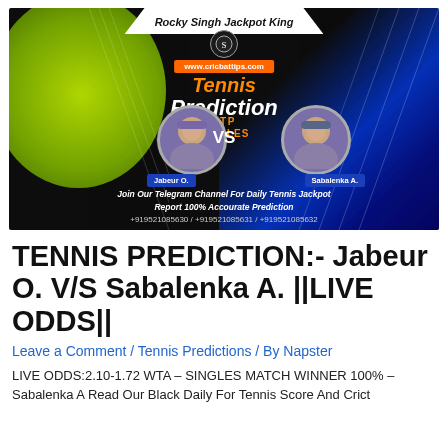[Figure (infographic): Tennis prediction promotional banner with dark background, tennis ball on left, blue flame on right. Shows 'Rocky Singh Jackpot King' at top, 'www.cricbattips.com' URL tag, 'Tennis Prediction' heading in orange and white, 'ATP SINGLES' text, two player portrait circles labeled 'Jabeur O.' vs 'Sabalenka A.' with VS between them, Telegram channel promotion text, and phone numbers +919521085630 / +919521085631 / +919521085632.]
TENNIS PREDICTION:- Jabeur O. V/S Sabalenka A. ||LIVE ODDS||
Leave a Comment / Tennis Predictions / By Napster
LIVE ODDS:2.10-1.72 WTA – SINGLES MATCH WINNER 100% – Sabalenka A Read Our Black Daily For Tennis Score And Cricket